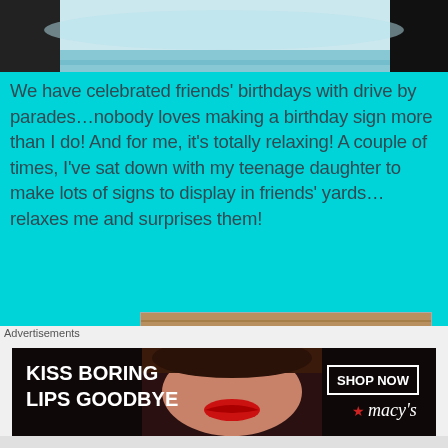[Figure (photo): Top portion of a photo partially visible, showing a light blue/white surface, cropped at the bottom.]
We have celebrated friends' birthdays with drive by parades...nobody loves making a birthday sign more than I do! And for me, it's totally relaxing! A couple of times, I've sat down with my teenage daughter to make lots of signs to display in friends' yards...relaxes me and surprises them!
[Figure (photo): Photo of handmade birthday signs on a surface. Signs read: 'YOU ARE A WINNER', 'IT'S YOUR BIRTHDAY', and partial text visible on other signs. Colorful hand-lettered posters with polka dots and stars.]
Advertisements
[Figure (photo): Advertisement banner for Macy's. Dark background with a woman's face (red lips). Left side says 'KISS BORING LIPS GOODBYE' in white bold text. Right side has a 'SHOP NOW' button and the Macy's logo with red star.]